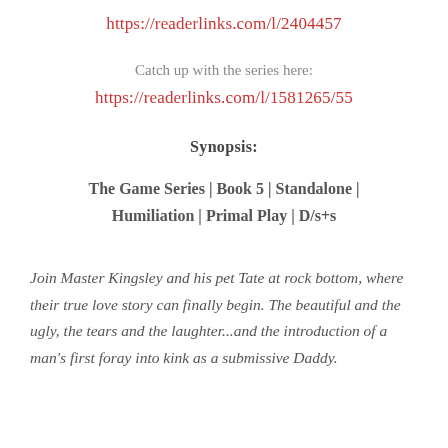https://readerlinks.com/l/2404457
Catch up with the series here:
https://readerlinks.com/l/1581265/55
Synopsis:
The Game Series | Book 5 | Standalone | Humiliation | Primal Play | D/s+s
Join Master Kingsley and his pet Tate at rock bottom, where their true love story can finally begin. The beautiful and the ugly, the tears and the laughter...and the introduction of a man's first foray into kink as a submissive Daddy.